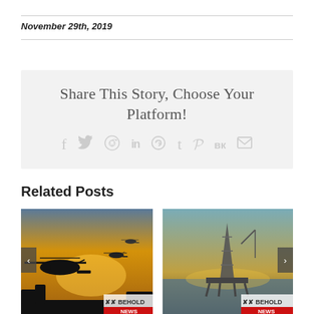November 29th, 2019
Share This Story, Choose Your Platform!
[Figure (infographic): Social sharing icons: Facebook, Twitter, Reddit, LinkedIn, WhatsApp, Tumblr, Pinterest, VK, Email]
Related Posts
[Figure (photo): Military helicopters silhouetted against a golden sunset sky, with Behold Israel NEWS badge]
[Figure (photo): Offshore oil drilling rig on water at sunset, with Behold Israel NEWS badge]